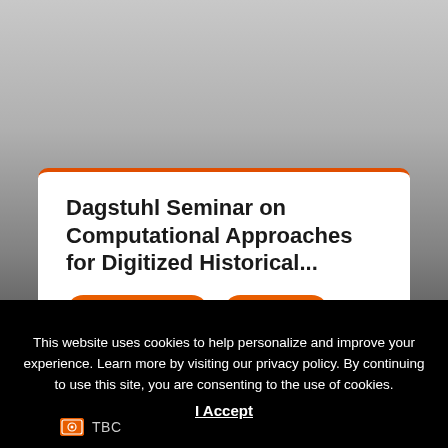Dagstuhl Seminar on Computational Approaches for Digitized Historical...
CONFERENCE
VIRTUAL
This website uses cookies to help personalize and improve your experience. Learn more by visiting our privacy policy. By continuing to use this site, you are consenting to the use of cookies.
I Accept
TBC